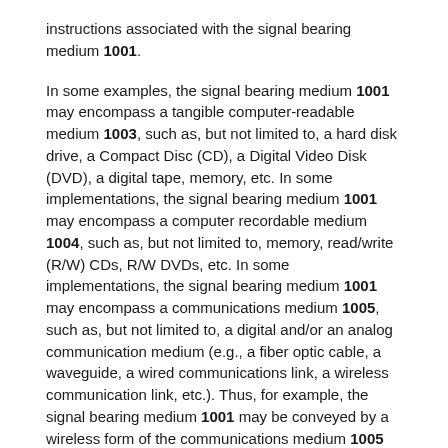instructions associated with the signal bearing medium 1001.
In some examples, the signal bearing medium 1001 may encompass a tangible computer-readable medium 1003, such as, but not limited to, a hard disk drive, a Compact Disc (CD), a Digital Video Disk (DVD), a digital tape, memory, etc. In some implementations, the signal bearing medium 1001 may encompass a computer recordable medium 1004, such as, but not limited to, memory, read/write (R/W) CDs, R/W DVDs, etc. In some implementations, the signal bearing medium 1001 may encompass a communications medium 1005, such as, but not limited to, a digital and/or an analog communication medium (e.g., a fiber optic cable, a waveguide, a wired communications link, a wireless communication link, etc.). Thus, for example, the signal bearing medium 1001 may be conveyed by a wireless form of the communications medium 1005 (e.g., a wireless communications medium conforming with the IEEE 802.11 standard or other transmission protocol).
The one or more programming instructions 1002 may be,